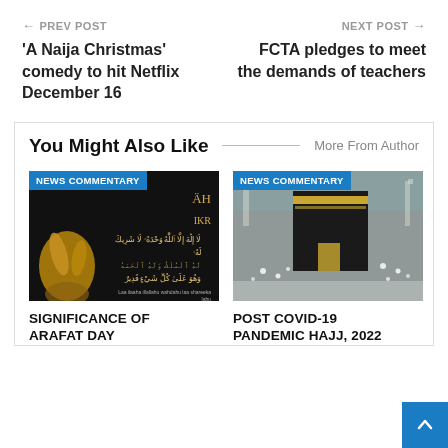← PREV POST
'A Naija Christmas' comedy to hit Netflix December 16
NEXT POST →
FCTA pledges to meet the demands of teachers
You Might Also Like
More From Author
[Figure (photo): Dark background image with raised hands and Arabic/Islamic text (Dhikr), with NEWS COMMENTARY badge]
SIGNIFICANCE OF ARAFAT DAY
[Figure (photo): Photo of Kaaba (Mecca) with pilgrims, with NEWS COMMENTARY badge]
POST COVID-19 PANDEMIC HAJJ, 2022